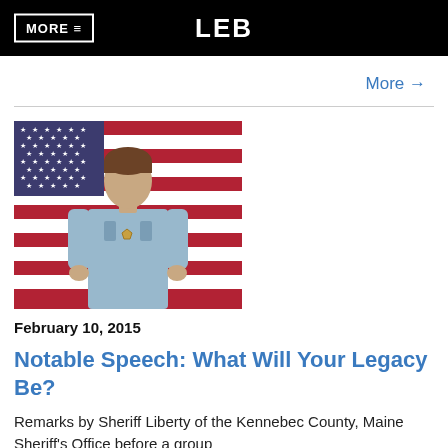MORE ≡   LEB
More →
[Figure (photo): Female police officer in light blue uniform standing in front of an American flag]
February 10, 2015
Notable Speech: What Will Your Legacy Be?
Remarks by Sheriff Liberty of the Kennebec County, Maine Sheriff's Office before a group